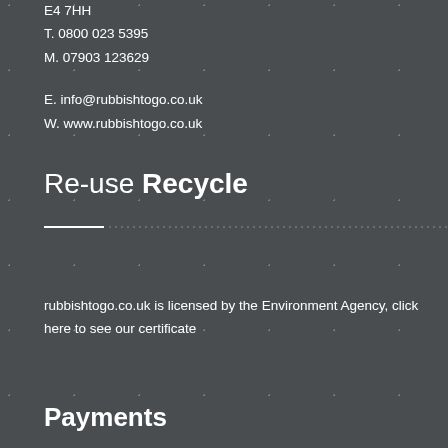E4 7HH
T. 0800 023 5395
M. 07903 123629
E. info@rubbishtogo.co.uk
W. www.rubbishtogo.co.uk
Re-use Recycle
rubbishtogo.co.uk is licensed by the Environment Agency, click here to see our certificate
Payments